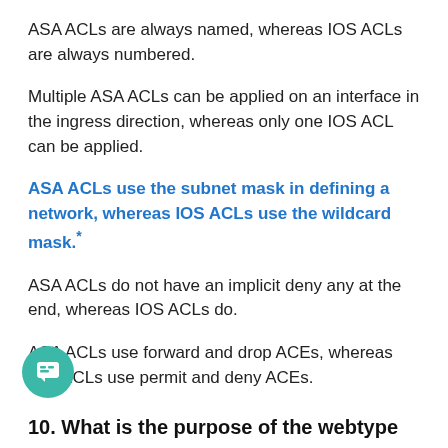ASA ACLs are always named, whereas IOS ACLs are always numbered.
Multiple ASA ACLs can be applied on an interface in the ingress direction, whereas only one IOS ACL can be applied.
ASA ACLs use the subnet mask in defining a network, whereas IOS ACLs use the wildcard mask.*
ASA ACLs do not have an implicit deny any at the end, whereas IOS ACLs do.
ASA ACLs use forward and drop ACEs, whereas IOS ACLs use permit and deny ACEs.
10. What is the purpose of the webtype